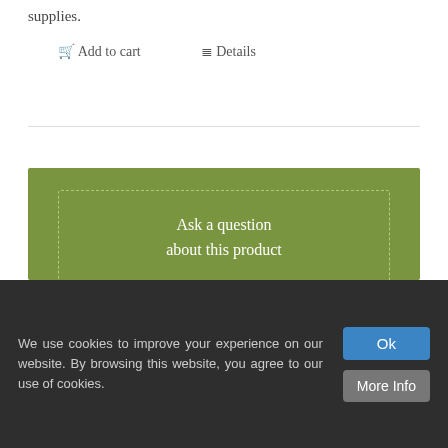supplies.
🛒 Add to cart    ≡ Details
Ask a question
about this product
Our Product Range
> Organic Heirloom Seeds
> Beans
We use cookies to improve your experience on our website. By browsing this website, you agree to our use of cookies.